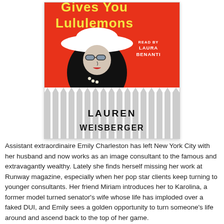[Figure (illustration): Book cover for 'When Life Gives You Lululemons' by Lauren Weisberger. Red background with yellow title text at top (partially cropped), a stylized illustration of a woman with large black hair, white hat, and sunglasses in the center. White zigzag fence pattern at bottom half. Text reads 'READ BY LAURA BENANTI' on the right side. Author name 'LAUREN WEISBERGER' in large black letters at the bottom of the cover.]
Assistant extraordinaire Emily Charleston has left New York City with her husband and now works as an image consultant to the famous and extravagantly wealthy. Lately she finds herself missing her work at Runway magazine, especially when her pop star clients keep turning to younger consultants. Her friend Miriam introduces her to Karolina, a former model turned senator's wife whose life has imploded over a faked DUI, and Emily sees a golden opportunity to turn someone's life around and ascend back to the top of her game.